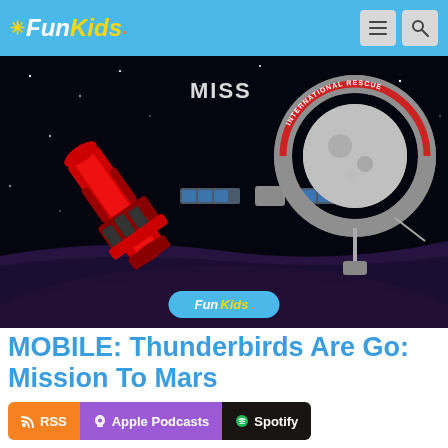Fun Kids
[Figure (illustration): Space scene showing a red Thunderbirds rocket/vehicle on the left and an international space station ring on the right, against a dark starry sky with a purple/orange Martian surface at bottom. Fun Kids logo watermark overlaid at bottom center.]
MOBILE: Thunderbirds Are Go: Mission To Mars
RSS  Apple Podcasts  Spotify